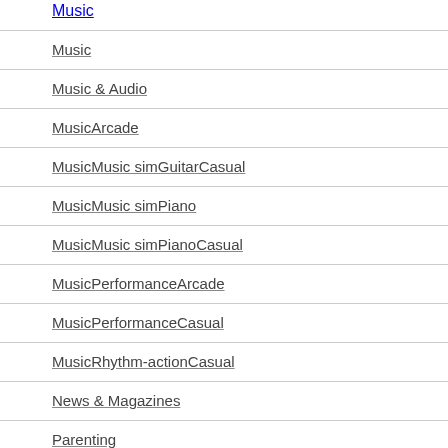Music
Music
Music & Audio
MusicArcade
MusicMusic simGuitarCasual
MusicMusic simPiano
MusicMusic simPianoCasual
MusicPerformanceArcade
MusicPerformanceCasual
MusicRhythm-actionCasual
News & Magazines
Parenting
Personalization